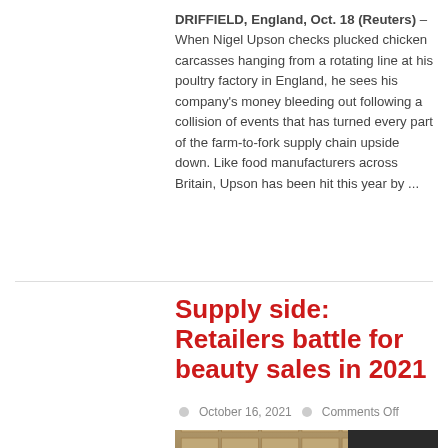DRIFFIELD, England, Oct. 18 (Reuters) – When Nigel Upson checks plucked chicken carcasses hanging from a rotating line at his poultry factory in England, he sees his company's money bleeding out following a collision of events that has turned every part of the farm-to-fork supply chain upside down. Like food manufacturers across Britain, Upson has been hit this year by ...
Read More »
Supply side: Retailers battle for beauty sales in 2021
October 16, 2021   Comments Off
[Figure (photo): Warehouse image showing stacked boxes/pallets on conveyor system, with overlay text reading THE SUPPLY SIDE on dark right panel]